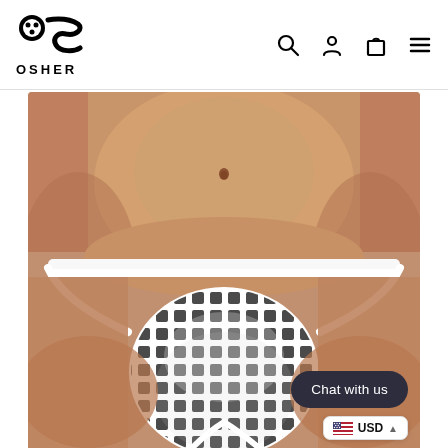OSHER - navigation header with logo and icons
[Figure (photo): Product photo of a person's torso wearing white mesh/fishnet men's underwear/thong against a neutral background. The underwear features a white waistband and a fishnet mesh pouch.]
Chat with us
USD